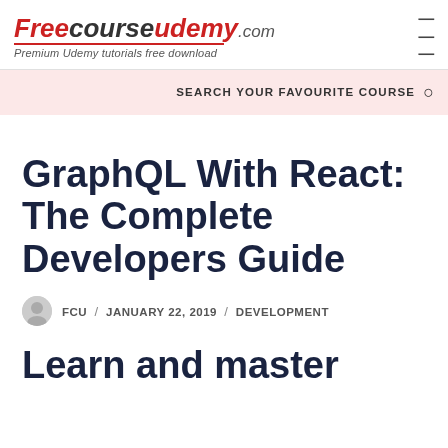Freecourseudemy.com — Premium Udemy tutorials free download
SEARCH YOUR FAVOURITE COURSE
GraphQL With React: The Complete Developers Guide
FCU / JANUARY 22, 2019 / DEVELOPMENT
Learn and master